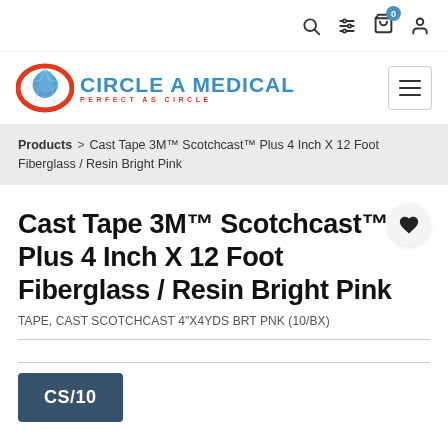Circle A Medical — navigation icons: search, filter, cart (0), user
[Figure (logo): Circle A Medical logo with circular arrow icon and tagline PERFECT AS CIRCLE]
Products > Cast Tape 3M™ Scotchcast™ Plus 4 Inch X 12 Foot Fiberglass / Resin Bright Pink
Cast Tape 3M™ Scotchcast™ Plus 4 Inch X 12 Foot Fiberglass / Resin Bright Pink
TAPE, CAST SCOTCHCAST 4"X4YDS BRT PNK (10/BX)
CS/10